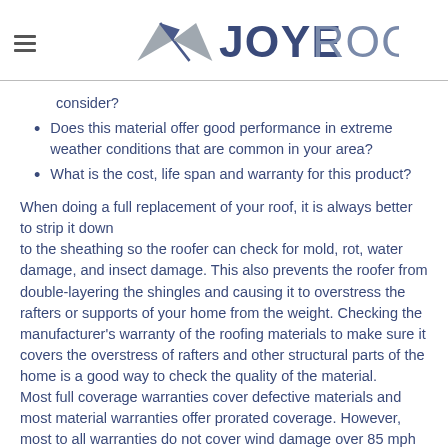JOYE ROOFING
consider?
Does this material offer good performance in extreme weather conditions that are common in your area?
What is the cost, life span and warranty for this product?
When doing a full replacement of your roof, it is always better to strip it down to the sheathing so the roofer can check for mold, rot, water damage, and insect damage. This also prevents the roofer from double-layering the shingles and causing it to overstress the rafters or supports of your home from the weight. Checking the manufacturer's warranty of the roofing materials to make sure it covers the overstress of rafters and other structural parts of the home is a good way to check the quality of the material. Most full coverage warranties cover defective materials and most material warranties offer prorated coverage. However, most to all warranties do not cover wind damage over 85 mph or faulty installation. To protect yourself from faulty installation,